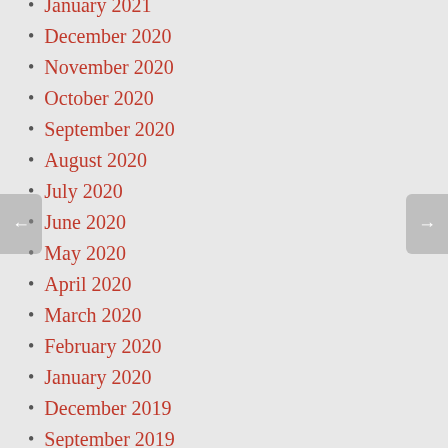January 2021
December 2020
November 2020
October 2020
September 2020
August 2020
July 2020
June 2020
May 2020
April 2020
March 2020
February 2020
January 2020
December 2019
September 2019
June 2019